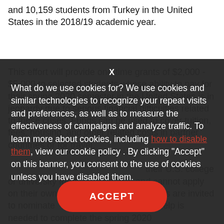and 10,159 students from Turkey in the United States in the 2018/19 academic year.
This effort will provide one-time grants of $2,000 - $5,000 to selected students whose ability to pay for their spring 2020 semester in the United States is in jeopardy due to serious financial difficulties related to these crises. Funds can be used to cover tuition, fees, housing, and other related costs in partner countries or for travel.
What do we use cookies for? We use cookies and similar technologies to recognize your repeat visits and preferences, as well as to measure the effectiveness of campaigns and analyze traffic. To learn more about cookies, including how to disable them, view our cookie policy . By clicking "Accept" on this banner, you consent to the use of cookies unless you have disabled them.
their U.S. college or university for this opportunity and cannot apply on their own behalf. U.S. campuses are invited to nominate students in total for whom help is needed to complete the spring 2020